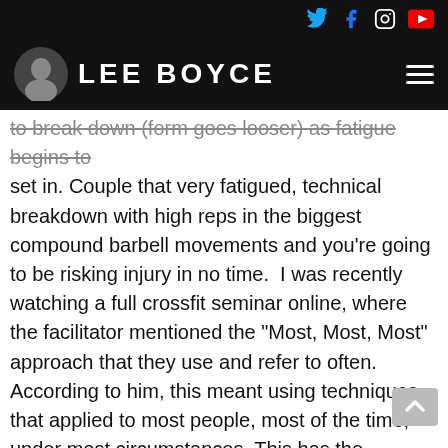LEE BOYCE — website header with social icons (Twitter, Facebook, Instagram, YouTube)
to break down (form goes looser) as fatigue begins to set in. Couple that very fatigued, technical breakdown with high reps in the biggest compound barbell movements and you're going to be risking injury in no time.  I was recently watching a full crossfit seminar online, where the facilitator mentioned the "Most, Most, Most" approach that they use and refer to often. According to him, this meant using techniques that applied to most people, most of the time, under most circumstances. This has the potential to all go out the window when the goal is to perform a certain number of snatches, deadlifts, thrusters and pull ups in 21 minutes or less, or when you have 90 seconds to perform a 300